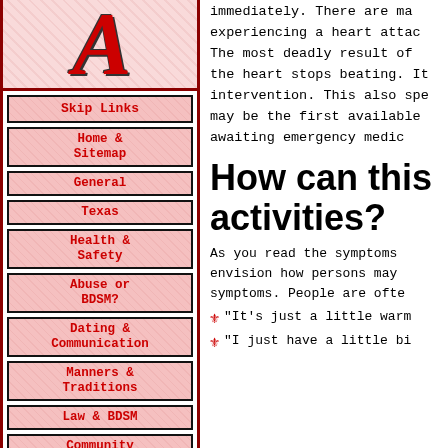[Figure (logo): Stylized red italic letter A logo on pink floral background]
Skip Links
Home & Sitemap
General
Texas
Health & Safety
Abuse or BDSM?
Dating & Communication
Manners & Traditions
Law & BDSM
Community Service
Misc.
About Ambrosio
immediately. There are ma experiencing a heart attac The most deadly result of the heart stops beating. It intervention. This also spe may be the first available awaiting emergency medic
How can this activities?
As you read the symptoms envision how persons may symptoms. People are ofte
"It's just a little warm
"I just have a little bi